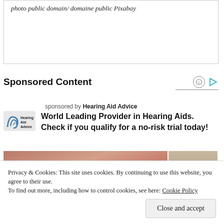photo public domain/ domaine public Pixabay
Sponsored Content
sponsored by Hearing Aid Advice
World Leading Provider in Hearing Aids. Check if you qualify for a no-risk trial today!
[Figure (photo): Two photos side by side: left shows a close-up of fingers/skin tones in warm brown-red hues; right shows a partial view of an elderly person's ear/hair in beige-gray tones.]
Privacy & Cookies: This site uses cookies. By continuing to use this website, you agree to their use.
To find out more, including how to control cookies, see here: Cookie Policy